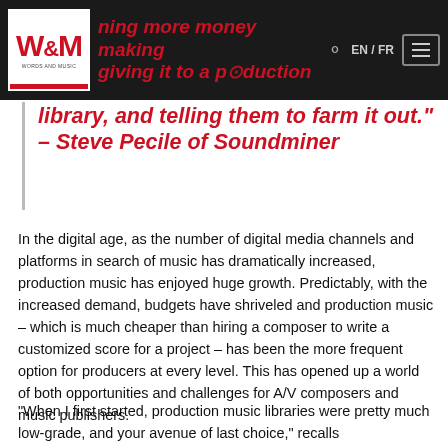W&M WORDS AND MUSIC — EN/FR navigation header
library, and telling them to farm it out." – Steve Pecile of Soundminer
In the digital age, as the number of digital media channels and platforms in search of music has dramatically increased, production music has enjoyed huge growth. Predictably, with the increased demand, budgets have shriveled and production music – which is much cheaper than hiring a composer to write a customized score for a project – has been the more frequent option for producers at every level. This has opened up a world of both opportunities and challenges for A/V composers and music publishers.
“When I first started, production music libraries were pretty much low-grade, and your avenue of last choice,” recalls